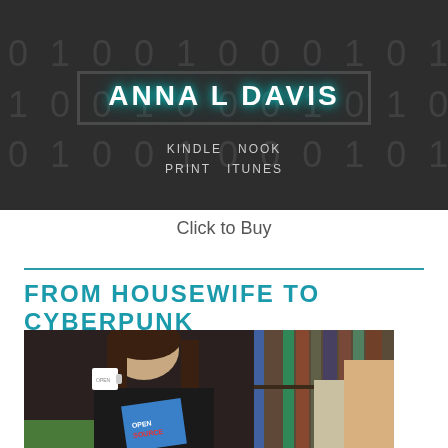[Figure (photo): Book banner with dark background showing binary digits, author name 'ANNA L DAVIS' in glowing teal text inside a box, with 'KINDLE  NOOK  PRINT  ITUNES' text below]
Click to Buy
FROM HOUSEWIFE TO CYBERPUNK
[Figure (photo): Woman with long dark hair sitting reading a book titled 'OPEN SOURCE', holding a white coffee mug, with a bookshelf visible in the background]